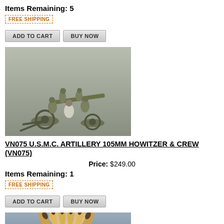Items Remaining: 5
[Figure (other): FREE SHIPPING badge/label with dashed orange border]
ADD TO CART | BUY NOW buttons
[Figure (photo): Military figurines: U.S.M.C. artillery crew with 105mm Howitzer cannon, painted miniature soldiers in olive drab on grey background]
VN075 U.S.M.C. ARTILLERY 105MM HOWITZER & CREW (VN075)
Price: $249.00
Items Remaining: 1
[Figure (other): FREE SHIPPING badge/label with dashed orange border]
ADD TO CART | BUY NOW buttons
[Figure (photo): Native American figurine with large feathered headdress, painted miniature on grey background, partially visible at bottom]